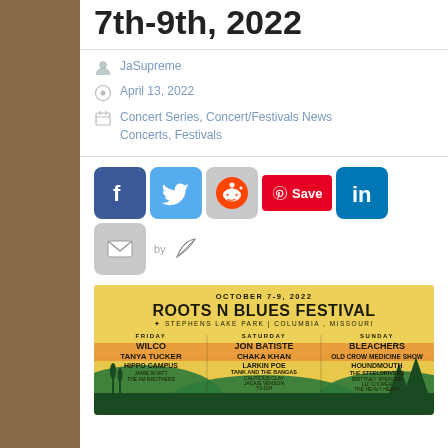7th-9th, 2022
JaSupreme
April 13, 2022
Concert Series, Concert/Festivals News, Concerts, Festivals
[Figure (infographic): Social sharing buttons: Facebook, Twitter, Reddit, Pinterest Save, LinkedIn, Email, by Feather]
[Figure (infographic): Roots N Blues Festival poster: October 7-9, 2022, Stephens Lake Park, Columbia, Missouri. Friday: Wilco, Tanya Tucker, Hippo Campus, Jamie Wyatt, The War Brothers. Saturday: Jon Batiste, Chaka Khan, Larkin Poe, Tank and the Bangas, Cautious Clay, Jackie Venson, TV-ish, Adam Aston. Sunday: Bleachers, Old Crow Medicine Show, Houndmouth, The Steeldrivers, Brittney Spencer, Liz Cooper, The Heavy Heavy, Squirrel.]